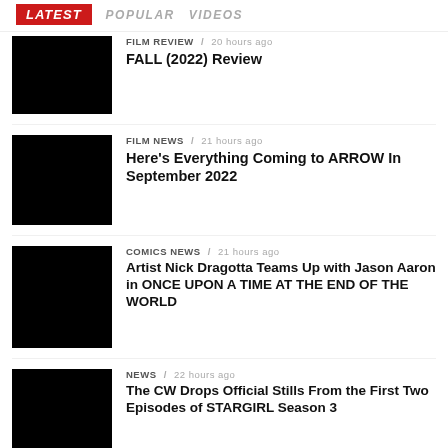LATEST | POPULAR | VIDEOS
FILM REVIEW / 20 hours ago — FALL (2022) Review
FILM NEWS / 21 hours ago — Here's Everything Coming to ARROW In September 2022
COMICS NEWS / 21 hours ago — Artist Nick Dragotta Teams Up with Jason Aaron in ONCE UPON A TIME AT THE END OF THE WORLD
NEWS / 22 hours ago — The CW Drops Official Stills From the First Two Episodes of STARGIRL Season 3
NEWS / 22 hours ago — The Crew of the USS Cerritos is Grounded in Stills From the Season 3 Premier of STAR…